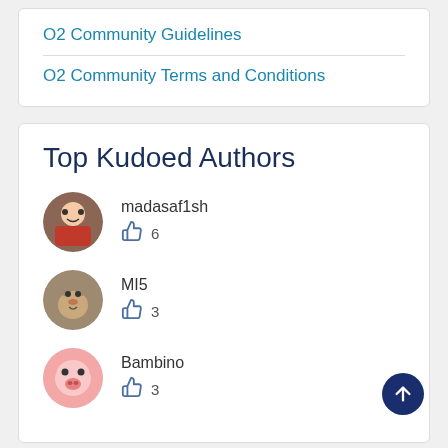O2 Community Guidelines
O2 Community Terms and Conditions
Top Kudoed Authors
madasaf1sh  👍 6
MI5  👍 3
Bambino  👍 3